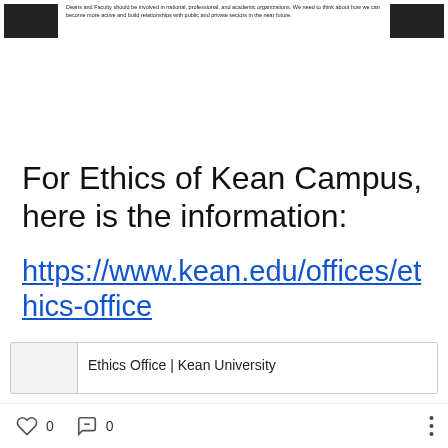[Figure (screenshot): Top section with two dark thumbnail images on left and right, and small text in the center reading about Deans and Faculty involvement in national, professional, and academic organizations.]
For Ethics of Kean Campus, here is the information:
https://www.kean.edu/offices/ethics-office
[Figure (screenshot): Link preview card showing Ethics Office | Kean University]
0  0  •••